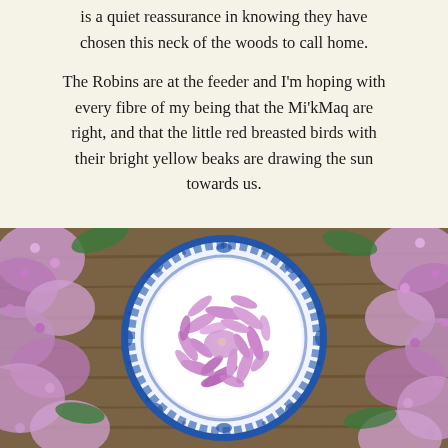is a quiet reassurance in knowing they have chosen this neck of the woods to call home.
The Robins are at the feeder and I'm hoping with every fibre of my being that the Mi'kMaq are right, and that the little red breasted birds with their bright yellow beaks are drawing the sun towards us.
[Figure (photo): A blue and white floral patterned plate with pink and purple lilac flower petals arranged on it, surrounded by more lilac flowers on a wooden surface, photographed from above.]